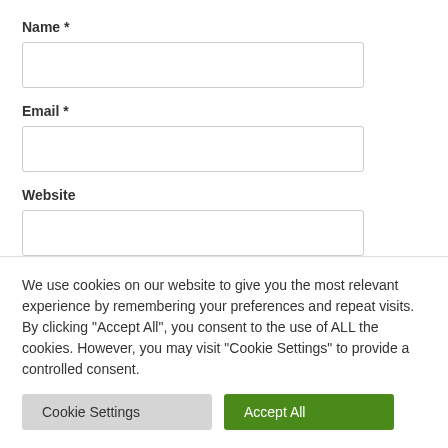Name *
Email *
Website
We use cookies on our website to give you the most relevant experience by remembering your preferences and repeat visits. By clicking "Accept All", you consent to the use of ALL the cookies. However, you may visit "Cookie Settings" to provide a controlled consent.
Cookie Settings
Accept All